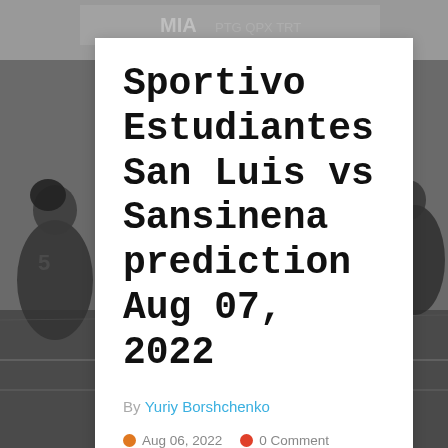[Figure (photo): Black and white background photo of American football players in action on a field, with 'MIA' scoreboard text visible at top]
Sportivo Estudiantes San Luis vs Sansinena prediction Aug 07, 2022
By Yuriy Borshchenko
Aug 06, 2022   0 Comment